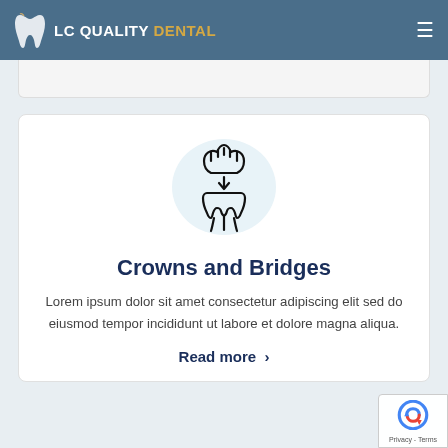LC Quality Dental
[Figure (illustration): Dental crown and bridge icon — a crown being placed on a tooth, inside a light blue circle background]
Crowns and Bridges
Lorem ipsum dolor sit amet consectetur adipiscing elit sed do eiusmod tempor incididunt ut labore et dolore magna aliqua.
Read more >